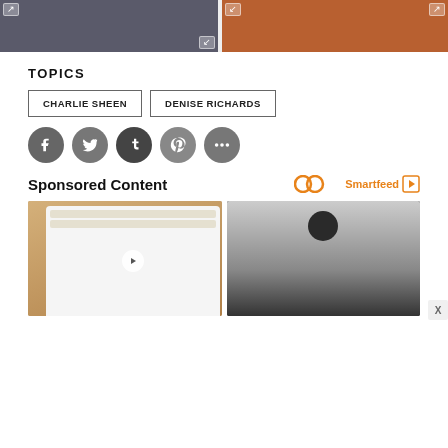[Figure (photo): Two images partially visible at top of page — a dark-clothed figure on left and food/orange items on right]
TOPICS
CHARLIE SHEEN
DENISE RICHARDS
[Figure (infographic): Social sharing buttons: Facebook, Twitter, Tumblr, Pinterest, More]
Sponsored Content
[Figure (logo): Smartfeed logo with infinity-like icon and play button]
[Figure (photo): Left: phone showing shopping app with Alexa; Right: young Black woman smiling in black outfit]